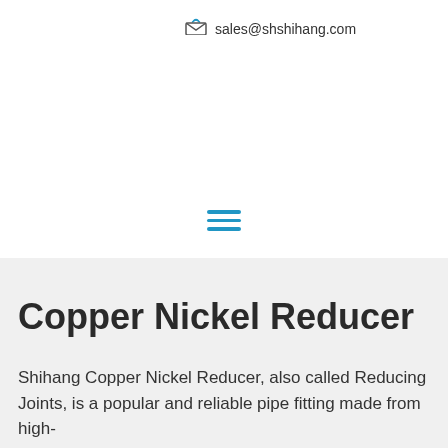sales@shshihang.com
[Figure (other): Hamburger menu icon with three horizontal blue lines]
Copper Nickel Reducer
Shihang Copper Nickel Reducer, also called Reducing Joints, is a popular and reliable pipe fitting made from high-